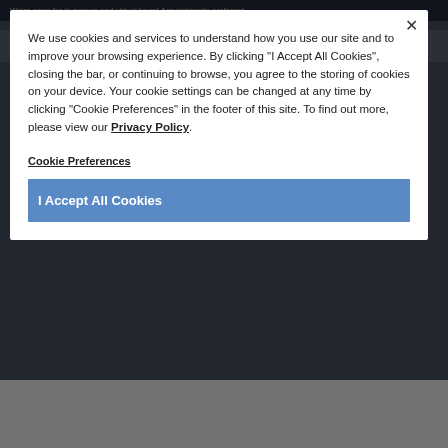We're open for in-person and virtual tours! Appointments preferred.
We use cookies and services to understand how you use our site and to improve your browsing experience. By clicking "I Accept All Cookies", closing the bar, or continuing to browse, you agree to the storing of cookies on your device. Your cookie settings can be changed at any time by clicking "Cookie Preferences" in the footer of this site. To find out more, please view our Privacy Policy.
Cookie Preferences
I Accept All Cookies
Contact one of our Leasing Professionals for more information. Restrictions Apply. Offer is on select apartments and lease terms only. Pricing and offers subject to change at any time. Offer cannot be combined with other specials or discounts.
Discover Now